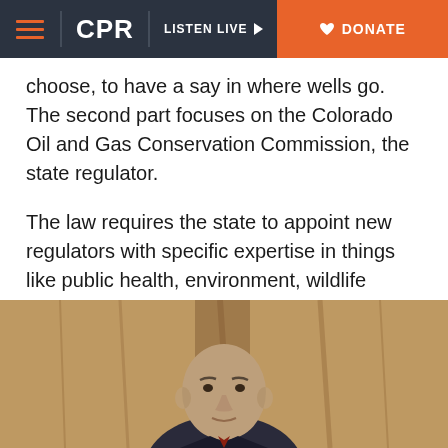CPR | LISTEN LIVE | DONATE
choose, to have a say in where wells go. The second part focuses on the Colorado Oil and Gas Conservation Commission, the state regulator.
The law requires the state to appoint new regulators with specific expertise in things like public health, environment, wildlife protection and soil. Processes will also start on a half dozen new rules that need to be crafted for methane leaks and safer underground flowlines.
[Figure (photo): A man seated at what appears to be a formal hearing or meeting room, partially visible from chest up, with wooden paneling in the background.]